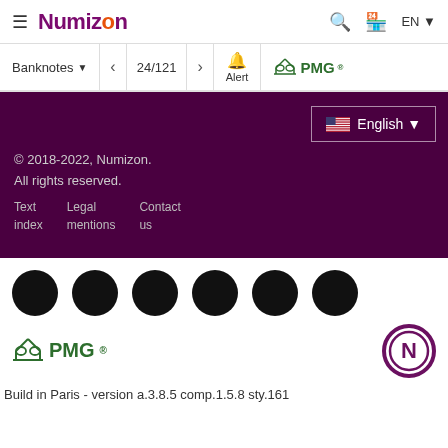≡ Numizon  🔍  🏪  EN ▾
Banknotes ▾  <  24/121  >  🔔 Alert  ⚖PMG®
[Figure (screenshot): Dark purple footer section with English language selector box (US flag + English ▾), copyright text '© 2018-2022, Numizon. All rights reserved.' and footer links: Text index, Legal mentions, Contact us]
[Figure (screenshot): White bottom section with six black circles in a row, PMG logo with scales icon in green, and a circular Numizon N logo in purple on the right]
Build in Paris - version a.3.8.5 comp.1.5.8 sty.161